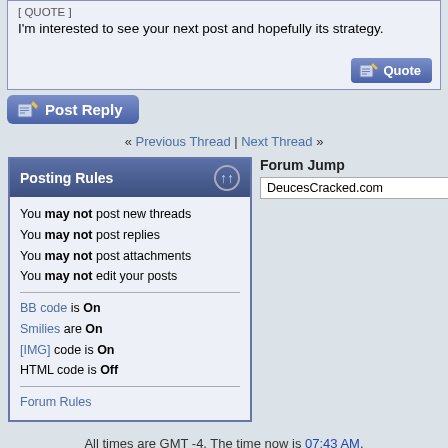[ QUOTE ]
I'm interested to see your next post and hopefully its strategy.
[Figure (screenshot): Post Reply button with pencil/paper icon]
« Previous Thread | Next Thread »
Posting Rules
You may not post new threads
You may not post replies
You may not post attachments
You may not edit your posts
BB code is On
Smilies are On
[IMG] code is On
HTML code is Off
Forum Rules
Forum Jump
DeucesCracked.com
All times are GMT -4. The time now is 07:43 AM.
Contact Us - www.twoplustwo.com - Archive - Top
Powered by vBulletin® Version 3.8.11
Copyright ©2000 - 2022, vBulletin Solutions Inc.